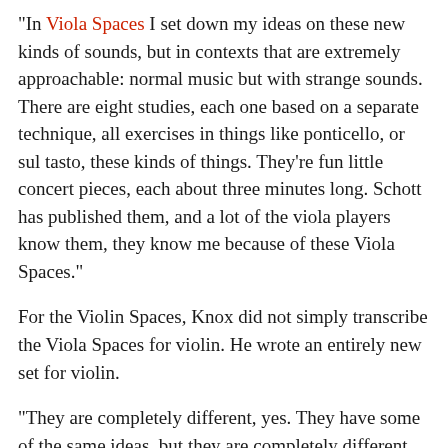"In Viola Spaces I set down my ideas on these new kinds of sounds, but in contexts that are extremely approachable: normal music but with strange sounds. There are eight studies, each one based on a separate technique, all exercises in things like ponticello, or sul tasto, these kinds of things. They're fun little concert pieces, each about three minutes long. Schott has published them, and a lot of the viola players know them, they know me because of these Viola Spaces."
For the Violin Spaces, Knox did not simply transcribe the Viola Spaces for violin. He wrote an entirely new set for violin.
"They are completely different, yes. They have some of the same ideas, but they are completely different pieces. There are eight of them as well," Knox said. "Almost all have the same techniques, though one technique is different. But they are based on the same idea. And I'm hoping afterwards to do Cello Spaces."
"I like the word 'space' because it invites players to explore for themselves," Knox said. "The piece is there, and they can play the